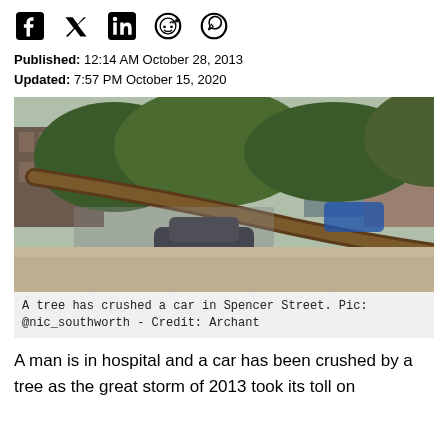[Figure (other): Social media sharing icons: Facebook, Twitter, LinkedIn, Reddit, WhatsApp]
Published: 12:14 AM October 28, 2013
Updated: 7:57 PM October 15, 2020
[Figure (photo): A fallen tree has crushed a car on Spencer Street. The large tree lies across a dark-coloured small car on a pavement, with buildings and other cars visible in the background.]
A tree has crushed a car in Spencer Street. Pic: @nic_southworth - Credit: Archant
A man is in hospital and a car has been crushed by a tree as the great storm of 2013 took its toll on